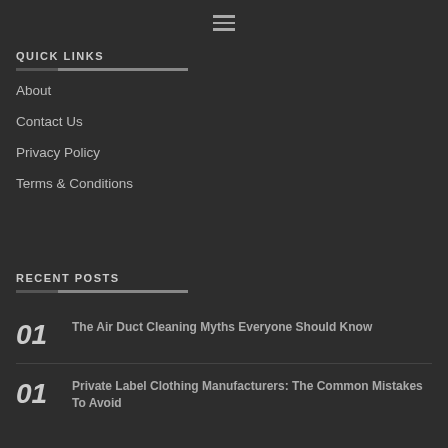Navigation menu icon
QUICK LINKS
About
Contact Us
Privacy Policy
Terms & Conditions
RECENT POSTS
01  The Air Duct Cleaning Myths Everyone Should Know
01  Private Label Clothing Manufacturers: The Common Mistakes To Avoid